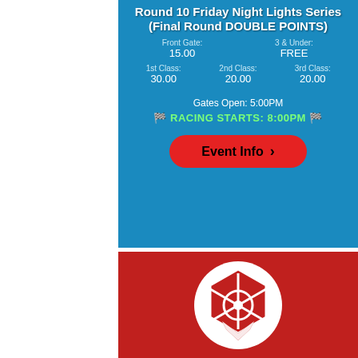[Figure (infographic): Blue banner with event info: Round 10 Friday Night Lights Series (Final Round DOUBLE POINTS), Front Gate 15.00, 3 & Under FREE, 1st Class 30.00, 2nd Class 20.00, 3rd Class 20.00, Gates Open 5:00PM, RACING STARTS: 8:00PM, Event Info button]
[Figure (logo): Red banner with white circular logo containing a stylized racing/motorsport emblem]